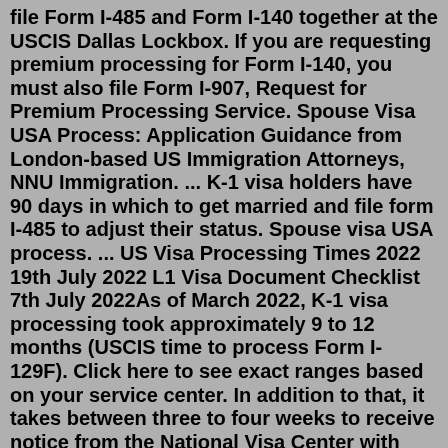file Form I-485 and Form I-140 together at the USCIS Dallas Lockbox. If you are requesting premium processing for Form I-140, you must also file Form I-907, Request for Premium Processing Service. Spouse Visa USA Process: Application Guidance from London-based US Immigration Attorneys, NNU Immigration. ... K-1 visa holders have 90 days in which to get married and file form I-485 to adjust their status. Spouse visa USA process. ... US Visa Processing Times 2022 19th July 2022 L1 Visa Document Checklist 7th July 2022As of March 2022, K-1 visa processing took approximately 9 to 12 months (USCIS time to process Form I-129F). Click here to see exact ranges based on your service center. In addition to that, it takes between three to four weeks to receive notice from the National Visa Center with further instructions.Jul 25, 2022 · Search: I 485 Processing Timeline. USCIS I-140 Processing Times: 15 days for Premium Processing 5-7 months for Regular Processing In such cases, the children "age-